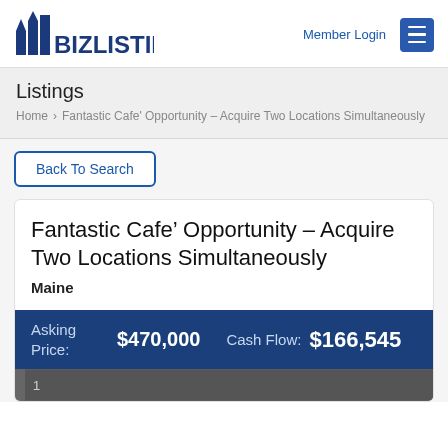BIZLISTINGS | Member Login
Listings
Home > Fantastic Cafe' Opportunity - Acquire Two Locations Simultaneously
Back To Search
Fantastic Cafe’ Opportunity – Acquire Two Locations Simultaneously
Maine
Asking Price: $470,000   Cash Flow: $166,545